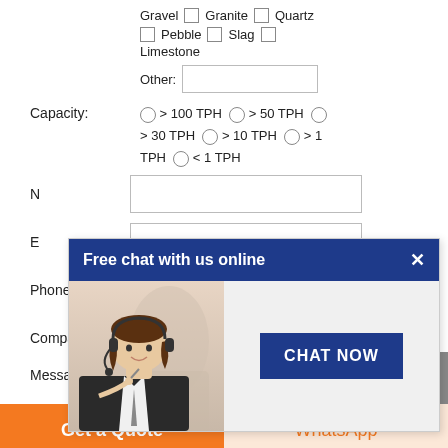Gravel  Granite  Quartz
Pebble  Slag
Limestone
Other:
Capacity: > 100 TPH  > 50 TPH  > 30 TPH  > 10 TPH  > 1 TPH  < 1 TPH
Name:
Email:
Phone:
Company:
Message:
[Figure (screenshot): Chat popup overlay with header 'Free chat with us online', a photo of a woman with headset, and a 'CHAT NOW' button]
Get a Quote
WhatsApp